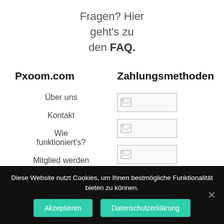Fragen? Hier geht's zu den FAQ.
Pxoom.com
Zahlungsmethoden
Über uns
Kontakt
Wie funktioniert's?
Mitglied werden
[Figure (other): Payment method image placeholder 1]
[Figure (other): Payment method image placeholder 2]
[Figure (other): Payment method image placeholder 3]
Diese Website nutzt Cookies, um Ihnen bestmögliche Funktionalität bieten zu können.
Akzeptieren
Datenschutzerklärung